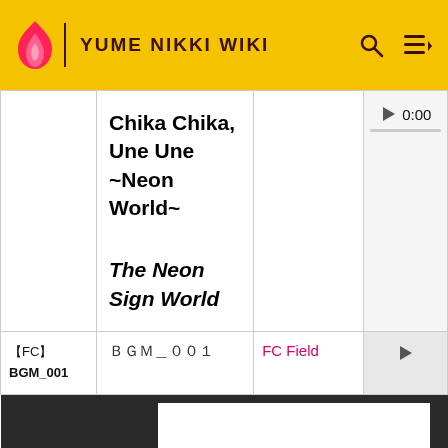YUME NIKKI WIKI
| ID | Song Name | Location | Audio |
| --- | --- | --- | --- |
|  | Chika Chika, Une Une ~Neon World~ / The Neon Sign World |  | 0:00 |
| 【FC】 BGM_001 | ＢＧＭ＿００１ | FC Field |  |
|  | Bask in the Sun |  |  |